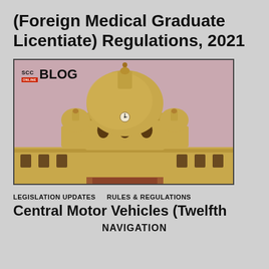(Foreign Medical Graduate Licentiate) Regulations, 2021
[Figure (photo): SCC Blog logo overlaid on a photo of an Indian government building dome (Sansad Bhavan / Secretariat) against a pinkish-mauve sky. The sandstone dome has ornate colonial architecture with smaller domes and arched windows.]
LEGISLATION UPDATES  RULES & REGULATIONS
Central Motor Vehicles (Twelfth
NAVIGATION